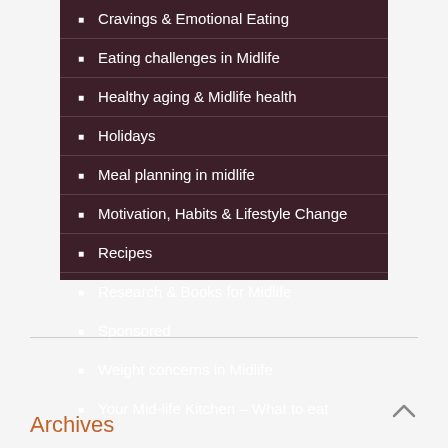Cravings & Emotional Eating
Eating challenges in Midlife
Healthy aging & Midlife health
Holidays
Meal planning in midlife
Motivation, Habits & Lifestyle Change
Recipes
Research & Books for Midlife
Sponsored
Weight concerns in Midlife
Your Mid-life Kitchen – What to eat
Archives